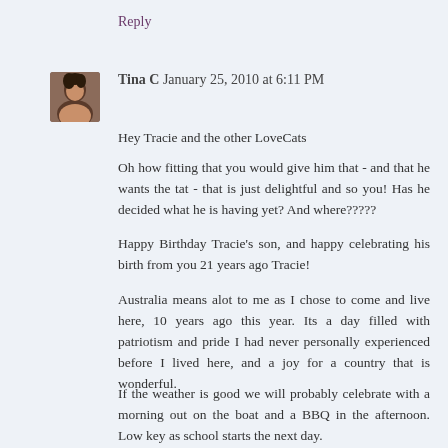Reply
Tina C  January 25, 2010 at 6:11 PM
Hey Tracie and the other LoveCats
Oh how fitting that you would give him that - and that he wants the tat - that is just delightful and so you! Has he decided what he is having yet? And where?????
Happy Birthday Tracie's son, and happy celebrating his birth from you 21 years ago Tracie!
Australia means alot to me as I chose to come and live here, 10 years ago this year. Its a day filled with patriotism and pride I had never personally experienced before I lived here, and a joy for a country that is wonderful.
If the weather is good we will probably celebrate with a morning out on the boat and a BBQ in the afternoon. Low key as school starts the next day.